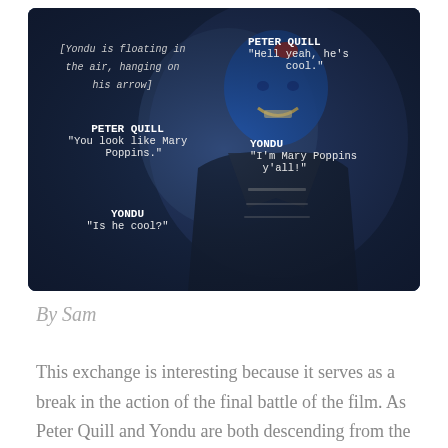[Figure (photo): Movie still from Guardians of the Galaxy Vol. 2 showing Yondu (blue alien character) with overlaid screenplay dialogue text. Left side shows stage direction in italic: '[Yondu is floating in the air, hanging on his arrow]' followed by PETER QUILL: 'You look like Mary Poppins.' and YONDU: 'Is he cool?' Right side shows PETER QUILL: 'Hell yeah, he's cool.' and YONDU: 'I'm Mary Poppins y'all!']
By Sam
This exchange is interesting because it serves as a break in the action of the final battle of the film. As Peter Quill and Yondu are both descending from the wreckage of their ship